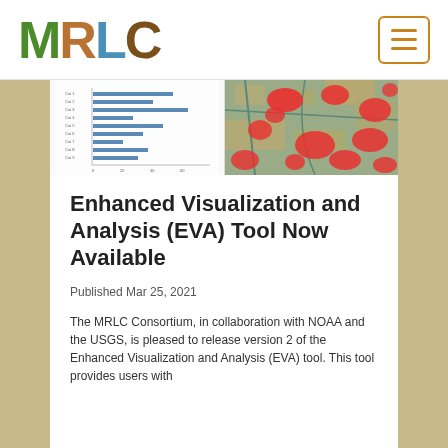[Figure (logo): MRLC logo with nature-textured letters]
[Figure (screenshot): Two side-by-side screenshots: left shows a bar chart analysis panel, right shows a satellite/land cover map with red highlighted areas]
Enhanced Visualization and Analysis (EVA) Tool Now Available
Published Mar 25, 2021
The MRLC Consortium, in collaboration with NOAA and the USGS, is pleased to release version 2 of the Enhanced Visualization and Analysis (EVA) tool. This tool provides users with